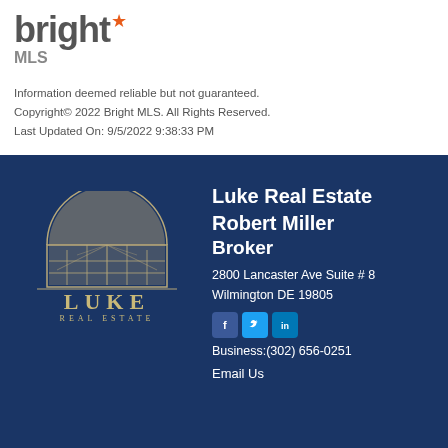[Figure (logo): Bright MLS logo with stylized 'bright' text and orange star, below which 'MLS' appears in gray]
Information deemed reliable but not guaranteed.
Copyright© 2022 Bright MLS. All Rights Reserved.
Last Updated On: 9/5/2022 9:38:33 PM
[Figure (logo): Luke Real Estate logo: arched window graphic above 'LUKE' in serif caps and 'REAL ESTATE' in spaced gold letters]
Luke Real Estate
Robert Miller
Broker
2800 Lancaster Ave Suite # 8
Wilmington DE 19805
Business:(302) 656-0251
Email Us